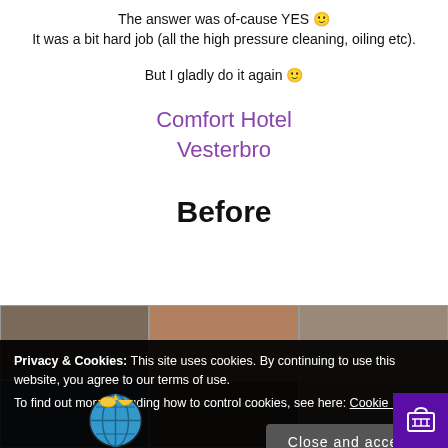The answer was of-cause YES 🙂
It was a bit hard job (all the high pressure cleaning, oiling etc).
But I gladly do it again 🙂
Comfort Hotel Vesterbro
Before
[Figure (photo): Three before photos of a building exterior showing brick facade, windows, and rooftop area arranged in a grid]
Privacy & Cookies: This site uses cookies. By continuing to use this website, you agree to our terms of use.
To find out more, including how to control cookies, see here: Cookie Policy